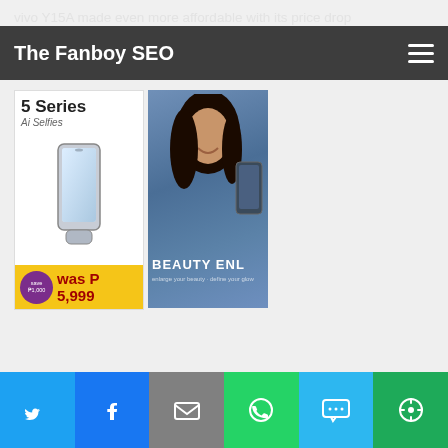vivo Y15A made even more affordable with its price drop
The Fanboy SEO
[Figure (photo): Vivo smartphone product advertisement showing a phone with '5 Series AI Selfies' label and price badge showing P5,999 with P1,000 discount on yellow strip, alongside a woman in blue holding a Vivo phone with 'BEAUTY ENL' text overlay]
Twitter | Facebook | Email | WhatsApp | SMS | More